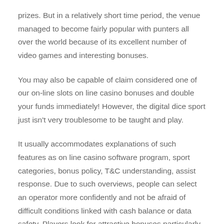prizes. But in a relatively short time period, the venue managed to become fairly popular with punters all over the world because of its excellent number of video games and interesting bonuses.
You may also be capable of claim considered one of our on-line slots on line casino bonuses and double your funds immediately! However, the digital dice sport just isn’t very troublesome to be taught and play.
It usually accommodates explanations of such features as on line casino software program, sport categories, bonus policy, T&C understanding, assist response. Due to such overviews, people can select an operator more confidently and not be afraid of difficult conditions linked with cash balance or data safety. Players look for attractive bonuses particularly no deposit bonuses. There should also be a Welcome Bonus to give new gamers tons of causes to remain and keep enjoying.